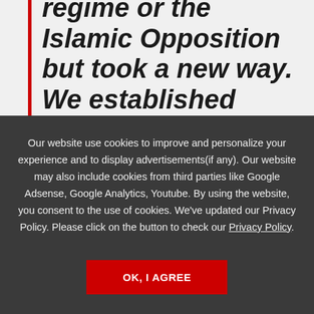regime or the Islamic Opposition but took a new way. We established
Our website use cookies to improve and personalize your experience and to display advertisements(if any). Our website may also include cookies from third parties like Google Adsense, Google Analytics, Youtube. By using the website, you consent to the use of cookies. We've updated our Privacy Policy. Please click on the button to check our Privacy Policy.
OK, I AGREE